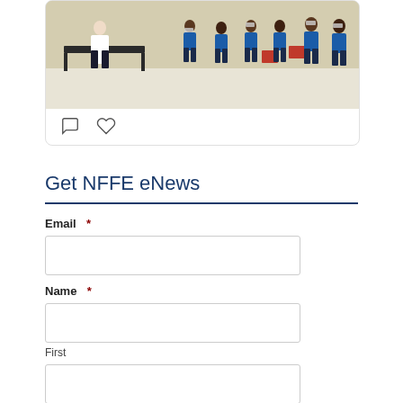[Figure (photo): A group of people in blue uniforms seated in a circle in a room, with one person standing near a table presenting or speaking. The setting appears to be a meeting or training session.]
Email *
Get NFFE eNews
Email *
Name *
First